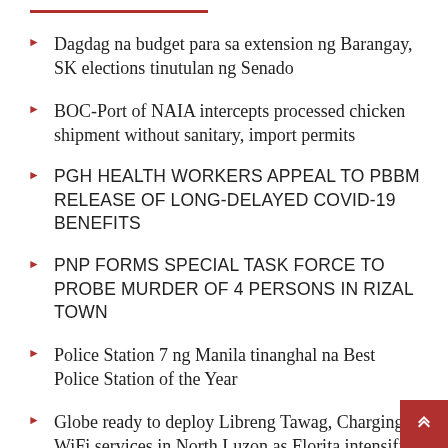Dagdag na budget para sa extension ng Barangay, SK elections tinutulan ng Senado
BOC-Port of NAIA intercepts processed chicken shipment without sanitary, import permits
PGH HEALTH WORKERS APPEAL TO PBBM RELEASE OF LONG-DELAYED COVID-19 BENEFITS
PNP FORMS SPECIAL TASK FORCE TO PROBE MURDER OF 4 PERSONS IN RIZAL TOWN
Police Station 7 ng Manila tinanghal na Best Police Station of the Year
Globe ready to deploy Libreng Tawag, Charging, WiFi services in North Luzon as Florita intensifies
GLOBE READY TO DEPLOY LIBRENG TAWAG, CHARGING, WIFI SERVICES IN NORTH LUZON